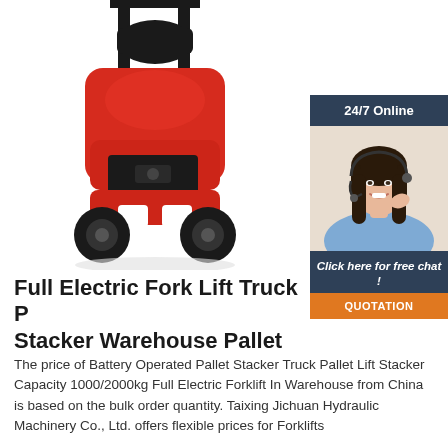[Figure (photo): Red electric forklift truck viewed from the front/back, showing the body, black seat, mast, and wheels on white background]
[Figure (photo): Sidebar with dark blue header '24/7 Online', photo of smiling woman with headset/microphone, dark blue panel with italic text 'Click here for free chat!', and orange QUOTATION button]
Full Electric Fork Lift Truck Pallet Stacker Warehouse Pallet
The price of Battery Operated Pallet Stacker Truck Pallet Lift Stacker Capacity 1000/2000kg Full Electric Forklift In Warehouse from China is based on the bulk order quantity. Taixing Jichuan Hydraulic Machinery Co., Ltd. offers flexible prices for Forklifts